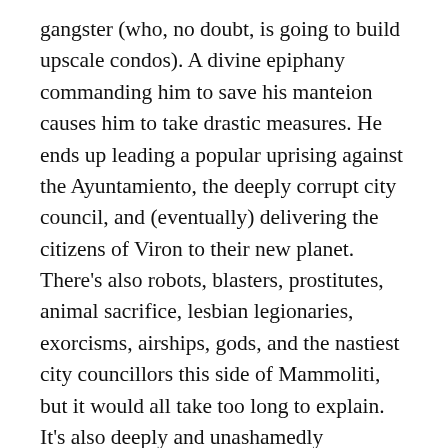gangster (who, no doubt, is going to build upscale condos). A divine epiphany commanding him to save his manteion causes him to take drastic measures. He ends up leading a popular uprising against the Ayuntamiento, the deeply corrupt city council, and (eventually) delivering the citizens of Viron to their new planet. There's also robots, blasters, prostitutes, animal sacrifice, lesbian legionaries, exorcisms, airships, gods, and the nastiest city councillors this side of Mammoliti, but it would all take too long to explain. It's also deeply and unashamedly Christian, but more like Lord of the Rings than Narnia. Just read it.
Nalo Hopkinson, Brown Girl in the Ring (1998)
In a Toronto devastated by economic collapse, the government and everyone else with the means